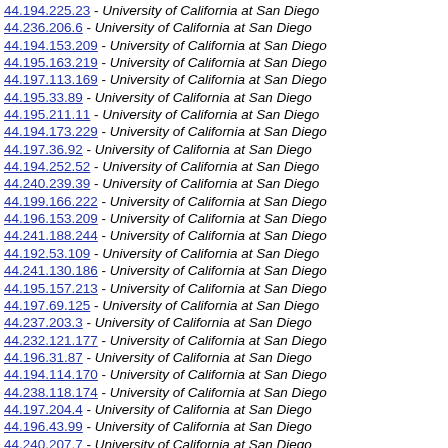44.194.225.23 - University of California at San Diego
44.236.206.6 - University of California at San Diego
44.194.153.209 - University of California at San Diego
44.195.163.219 - University of California at San Diego
44.197.113.169 - University of California at San Diego
44.195.33.89 - University of California at San Diego
44.195.211.11 - University of California at San Diego
44.194.173.229 - University of California at San Diego
44.197.36.92 - University of California at San Diego
44.194.252.52 - University of California at San Diego
44.240.239.39 - University of California at San Diego
44.199.166.222 - University of California at San Diego
44.196.153.209 - University of California at San Diego
44.241.188.244 - University of California at San Diego
44.192.53.109 - University of California at San Diego
44.241.130.186 - University of California at San Diego
44.195.157.213 - University of California at San Diego
44.197.69.125 - University of California at San Diego
44.237.203.3 - University of California at San Diego
44.232.121.177 - University of California at San Diego
44.196.31.87 - University of California at San Diego
44.194.114.170 - University of California at San Diego
44.238.118.174 - University of California at San Diego
44.197.204.4 - University of California at San Diego
44.196.43.99 - University of California at San Diego
44.240.207.7 - University of California at San Diego
44.197.201.1 - University of California at San Diego
44.192.121.177 - University of California at San Diego
44.195.57.113 - University of California at San Diego
44.233.240.40 - University of California at San Diego
44.192.120.176 - University of California at San Diego